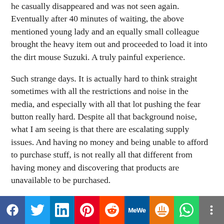he casually disappeared and was not seen again. Eventually after 40 minutes of waiting, the above mentioned young lady and an equally small colleague brought the heavy item out and proceeded to load it into the dirt mouse Suzuki. A truly painful experience.
Such strange days. It is actually hard to think straight sometimes with all the restrictions and noise in the media, and especially with all that lot pushing the fear button really hard. Despite all that background noise, what I am seeing is that there are escalating supply issues. And having no money and being unable to afford to purchase stuff, is not really all that different from having money and discovering that products are unavailable to be purchased.
[Figure (other): Social media share buttons bar: Facebook (blue), Twitter (light blue), LinkedIn (dark blue), Pinterest (red), Reddit (orange-red), MeWe (dark blue), Mix (orange), WhatsApp (green), More (grey)]